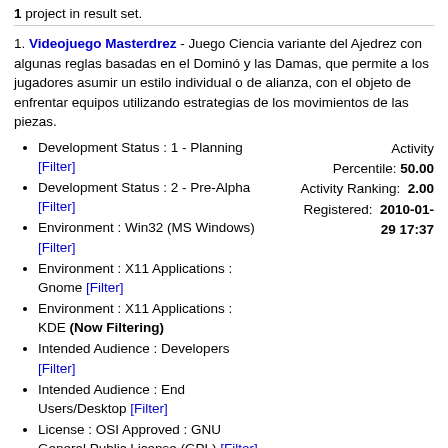1 project in result set.
1. Videojuego Masterdrez - Juego Ciencia variante del Ajedrez con algunas reglas basadas en el Dominó y las Damas, que permite a los jugadores asumir un estilo individual o de alianza, con el objeto de enfrentar equipos utilizando estrategias de los movimientos de las piezas.
Development Status : 1 - Planning [Filter]
Development Status : 2 - Pre-Alpha [Filter]
Environment : Win32 (MS Windows) [Filter]
Environment : X11 Applications : Gnome [Filter]
Environment : X11 Applications : KDE (Now Filtering)
Intended Audience : Developers [Filter]
Intended Audience : End Users/Desktop [Filter]
License : OSI Approved : GNU General Public License (GPL) [Filter]
Natural Language : English (Now Filtering)
Natural Language : Spanish [Filter]
Operating System : Microsoft : Windows [Filter]
Operating System : POSIX : Linux
Activity Percentile: 50.00 Activity Ranking: 2.00 Registered: 2010-01-29 17:37